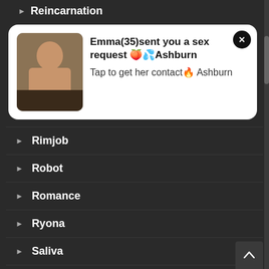Reincarnation
[Figure (other): Notification popup card showing an adult content ad with image and text]
Rimjob
Robot
Romance
Ryona
Saliva
Sari
Scar
Scat
School Life